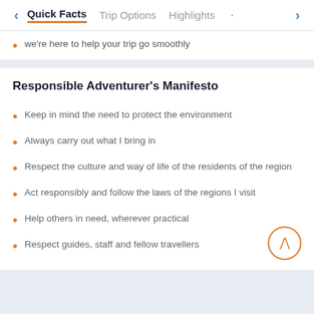Quick Facts | Trip Options | Highlights
we're here to help your trip go smoothly
Responsible Adventurer's Manifesto
Keep in mind the need to protect the environment
Always carry out what I bring in
Respect the culture and way of life of the residents of the region
Act responsibly and follow the laws of the regions I visit
Help others in need, wherever practical
Respect guides, staff and fellow travellers